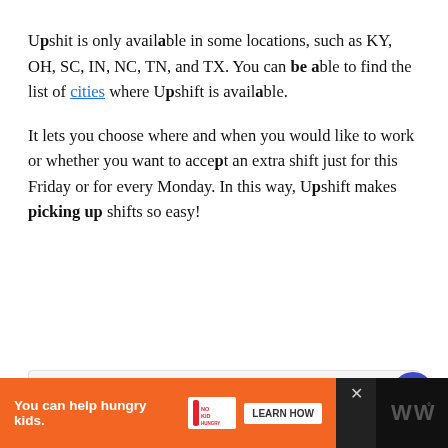Upshit is only available in some locations, such as KY, OH, SC, IN, NC, TN, and TX. You can be able to find the list of cities where Upshift is available.
It lets you choose where and when you would like to work or whether you want to accept an extra shift just for this Friday or for every Monday. In this way, Upshift makes picking up shifts so easy!
[Figure (other): UI card area with heart (save) and share buttons on the right side]
[Figure (other): Advertisement banner: orange bar reading 'You can help hungry kids.' with No Kid Hungry logo and LEARN HOW button, on dark background with close X and site logo on right]